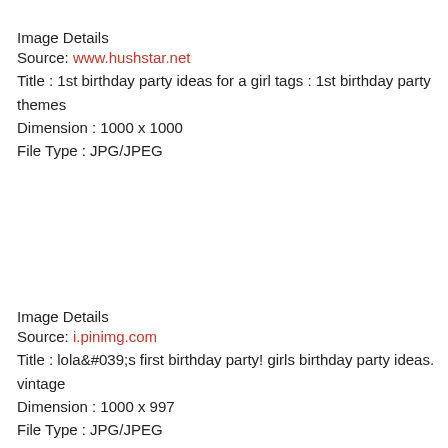Image Details
Source: www.hushstar.net
Title : 1st birthday party ideas for a girl tags : 1st birthday party themes
Dimension : 1000 x 1000
File Type : JPG/JPEG
Image Details
Source: i.pinimg.com
Title : lola&amp;#039;s first birthday party! girls birthday party ideas. vintage
Dimension : 1000 x 997
File Type : JPG/JPEG